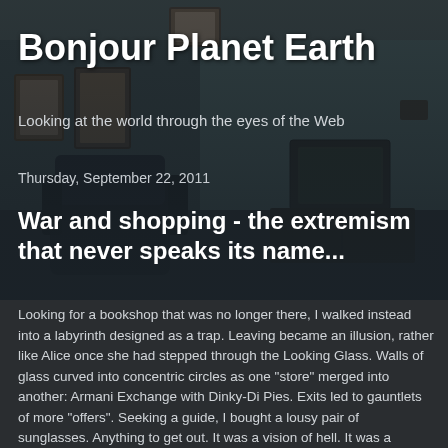[Figure (photo): Dark, moody interior room with worn walls, old framed pictures, a vintage television set on a cabinet, and a black armchair. Teal/grey color palette.]
Bonjour Planet Earth
Looking at the world through the eyes of the Web
Thursday, September 22, 2011
War and shopping - the extremism that never speaks its name...
Looking for a bookshop that was no longer there, I walked instead into a labyrinth designed as a trap. Leaving became an illusion, rather like Alice once she had stepped through the Looking Glass. Walls of glass curved into concentric circles as one "store" merged into another: Armani Exchange with Dinky-Di Pies. Exits led to gauntlets of more "offers". Seeking a guide, I bought a lousy pair of sunglasses. Anything to get out. It was a vision of hell. It was a Westfield mega mall.